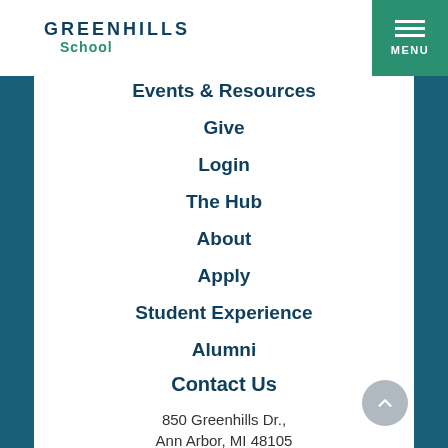GREENHILLS School
Events & Resources
Give
Login
The Hub
About
Apply
Student Experience
Alumni
Contact Us
850 Greenhills Dr., Ann Arbor, MI 48105